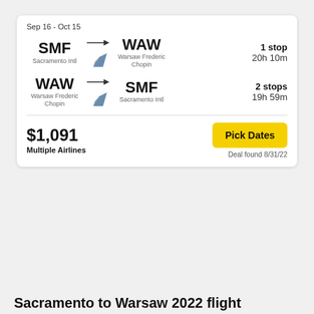Sep 16 - Oct 15
SMF → WAW | Sacramento Intl → Warsaw Frederic Chopin | 1 stop | 20h 10m
WAW → SMF | Warsaw Frederic Chopin → Sacramento Intl | 2 stops | 19h 59m
$1,091
Multiple Airlines
Pick Dates
Deal found 8/31/22
Sacramento to Warsaw 2022 flight